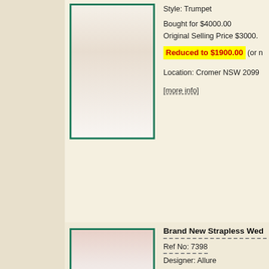Style: Trumpet
Bought for $4000.00
Original Selling Price $3000.
Reduced to $1900.00 (or n
Location: Cromer NSW 2099
[more info]
[Figure (photo): White trumpet style wedding dress on a model]
Brand New Strapless Wed...
Ref No: 7398
Designer: Allure
Fits Size/s: 16
Style: A-Line

Bought for $2195.00
Original Selling Price $2000.
Reduced to $1600.00 (or n
Location: Padstow NSW 221
[more info]
[Figure (photo): White strapless A-line ball gown wedding dress on a model holding pink flowers]
Brand New stunning Princ...
Ref No: 7397